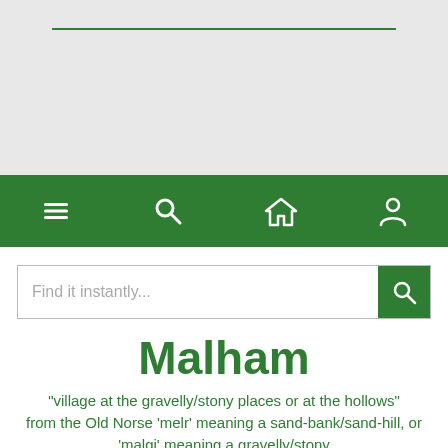[Figure (screenshot): Top gray section with a green horizontal rule line near top]
[Figure (screenshot): Green navigation bar with hamburger menu, search, home, and user icons]
Find it instantly...
Malham
"village at the gravelly/stony places or at the hollows" from the Old Norse 'melr' meaning a sand-bank/sand-hill, or 'malgi' meaning a gravelly/stony place